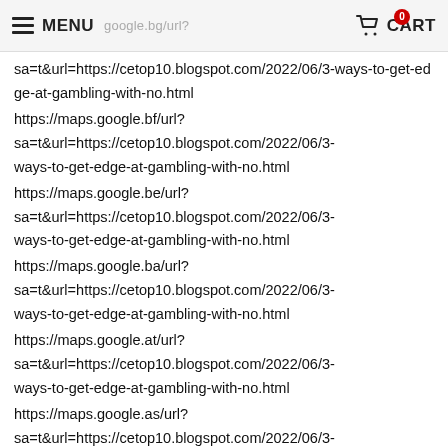MENU | google.bg/url? | CART
sa=t&url=https://cetop10.blogspot.com/2022/06/3-ways-to-get-edge-at-gambling-with-no.html
https://maps.google.bf/url?
sa=t&url=https://cetop10.blogspot.com/2022/06/3-ways-to-get-edge-at-gambling-with-no.html
https://maps.google.be/url?
sa=t&url=https://cetop10.blogspot.com/2022/06/3-ways-to-get-edge-at-gambling-with-no.html
https://maps.google.ba/url?
sa=t&url=https://cetop10.blogspot.com/2022/06/3-ways-to-get-edge-at-gambling-with-no.html
https://maps.google.at/url?
sa=t&url=https://cetop10.blogspot.com/2022/06/3-ways-to-get-edge-at-gambling-with-no.html
https://maps.google.as/url?
sa=t&url=https://cetop10.blogspot.com/2022/06/3-